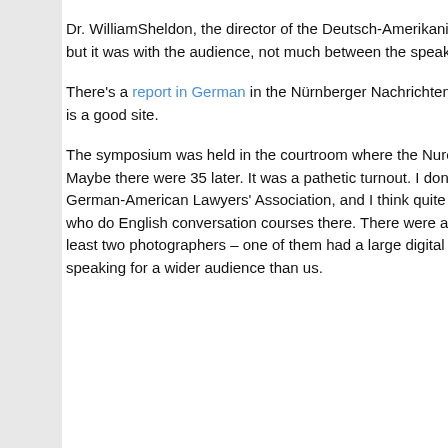Dr. WilliamSheldon, the director of the Deutsch-Amerikanisches Institut in Nuremberg, presided. There was some discussion afterwards, but it was with the audience, not much between the speakers, who probably know each other's opinions after many years of negotiating.
There's a report in German in the Nürnberger Nachrichten. The talks will be available on the site of the Oberlandesgericht Nürnberg, which is a good site.
The symposium was held in the courtroom where the Nuremberg Trials took place. I counted only 29 in the audience at the beginning. Maybe there were 35 later. It was a pathetic turnout. I don't know where these things are advertised. I heard as a member of the DAJV, the German-American Lawyers' Association, and I think quite a lot of the audience came from the Amerikahaus, either employees or people who do English conversation courses there. There were at least two journalists there, because I talked to them in the break. There were at least two photographers – one of them had a large digital camera with huge lenses, which I greatly coveted. Obviously the speakers were speaking for a wider audience than us.